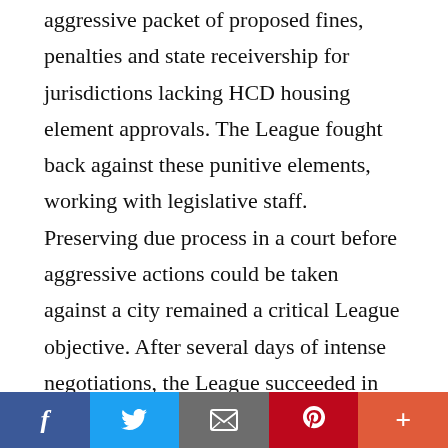aggressive packet of proposed fines, penalties and state receivership for jurisdictions lacking HCD housing element approvals. The League fought back against these punitive elements, working with legislative staff. Preserving due process in a court before aggressive actions could be taken against a city remained a critical League objective. After several days of intense negotiations, the League succeeded in revising the language to remove the most objectionable elements and ensure due process for cities.

Finally, on July 5, the Legislature passed AB 101, the [cut off]